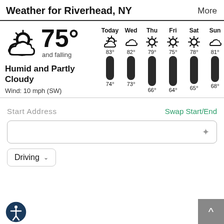Weather for Riverhead, NY  More
[Figure (infographic): Current weather showing partly cloudy icon, 75° and falling, Humid and Partly Cloudy, Wind: 10 mph (SW), and a 6-day forecast (Today through Sun) with weather icons and temperature bars. Today: 83°/74°, Wed: 82°/73°, Thu: 79°/66°, Fri: 75°/64°, Sat: 78°/65°, Sun: 81°/68°]
Start Address
Swap Start/End
Driving